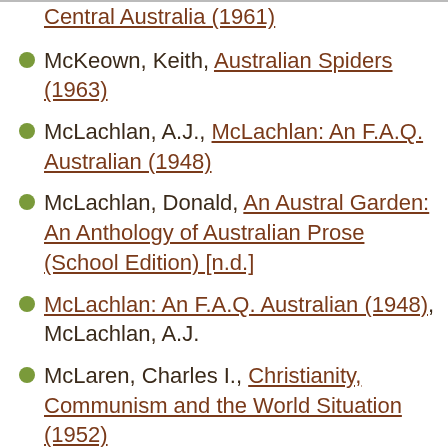Central Australia (1961)
McKeown, Keith, Australian Spiders (1963)
McLachlan, A.J., McLachlan: An F.A.Q. Australian (1948)
McLachlan, Donald, An Austral Garden: An Anthology of Australian Prose (School Edition) [n.d.]
McLachlan: An F.A.Q. Australian (1948), McLachlan, A.J.
McLaren, Charles I., Christianity, Communism and the World Situation (1952)
McLaren, Chas. I., Eleven Weeks in a Japanese Police Cell (1942)
McLaren, Chas. I., Preface to Peace With